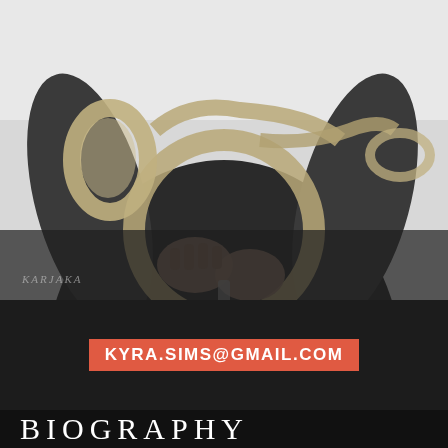[Figure (photo): Black and white photograph of a musician holding a French horn, wearing dark clothing. Photo credit watermark reads 'KARJAKA' in bottom left corner.]
KYRA.SIMS@GMAIL.COM
BIOGRAPHY